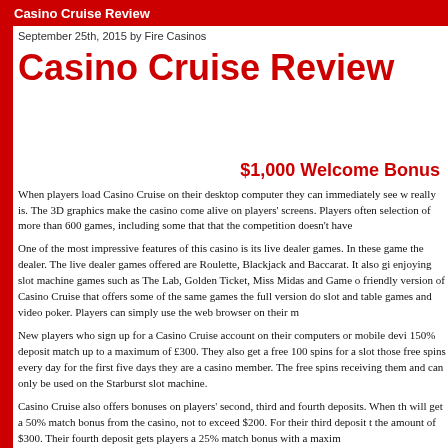Casino Cruise Review
September 25th, 2015 by Fire Casinos
Casino Cruise Review
$1,000 Welcome Bonus
When players load Casino Cruise on their desktop computer they can immediately see w really is. The 3D graphics make the casino come alive on players' screens. Players often selection of more than 600 games, including some that that the competition doesn't have
One of the most impressive features of this casino is its live dealer games. In these game the dealer. The live dealer games offered are Roulette, Blackjack and Baccarat. It also gi enjoying slot machine games such as The Lab, Golden Ticket, Miss Midas and Game o friendly version of Casino Cruise that offers some of the same games the full version do slot and table games and video poker. Players can simply use the web browser on their m
New players who sign up for a Casino Cruise account on their computers or mobile devi 150% deposit match up to a maximum of £300. They also get a free 100 spins for a slot those free spins every day for the first five days they are a casino member. The free spins receiving them and can only be used on the Starburst slot machine.
Casino Cruise also offers bonuses on players' second, third and fourth deposits. When th will get a 50% match bonus from the casino, not to exceed $200. For their third deposit t the amount of $300. Their fourth deposit gets players a 25% match bonus with a maxim